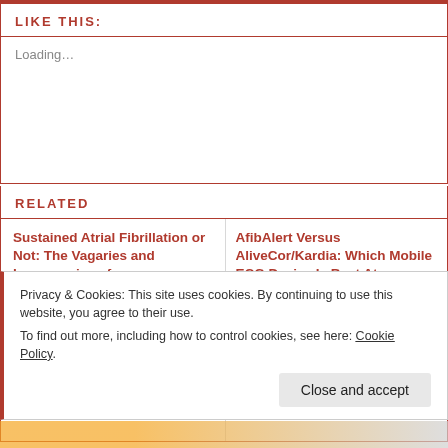LIKE THIS:
Loading…
RELATED
Sustained Atrial Fibrillation or Not: The Vagaries and Inaccuracies of AliveCor/Kardia and Computer Interpretation of ECG Rhythm
15 Feb 2017
AfibAlert Versus AliveCor/Kardia: Which Mobile ECG Device Is Best At Accurately Identifying Atrial Fibrillation?
10 May 2017
In "Atrial Fibrillation"
Privacy & Cookies: This site uses cookies. By continuing to use this website, you agree to their use.
To find out more, including how to control cookies, see here: Cookie Policy
Close and accept